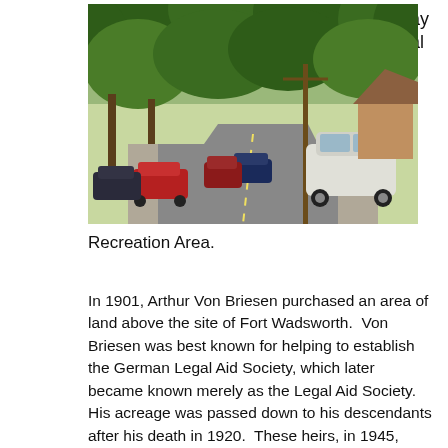[Figure (photo): Street scene with tree-lined road, parked cars, and utility pole visible. A white sedan is prominent in the foreground-right. Part of a neighborhood near Fort Wadsworth / Gateway National Recreation Area.]
Gateway National Recreation Area.
In 1901, Arthur Von Briesen purchased an area of land above the site of Fort Wadsworth.  Von Briesen was best known for helping to establish the German Legal Aid Society, which later became known merely as the Legal Aid Society.  His acreage was passed down to his descendants after his death in 1920.  These heirs, in 1945, donated the area of land to the Parks Department.  The nearly-thirteen acres of